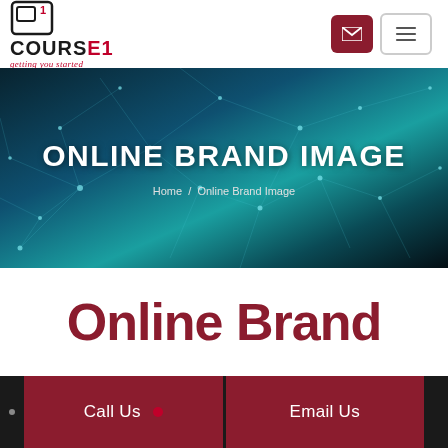[Figure (logo): Course1 logo with icon, bold text COURSE1, and tagline 'getting you started']
ONLINE BRAND IMAGE
Home / Online Brand Image
Online Brand
Call Us
Email Us